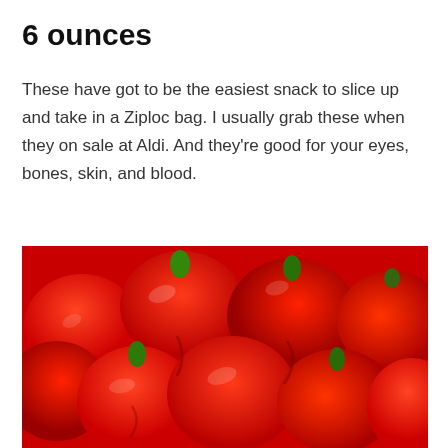6 ounces
These have got to be the easiest snack to slice up and take in a Ziploc bag. I usually grab these when they on sale at Aldi. And they're good for your eyes, bones, skin, and blood.
[Figure (photo): Close-up photograph of many red bell peppers piled together, showing their green stems and shiny red skin.]